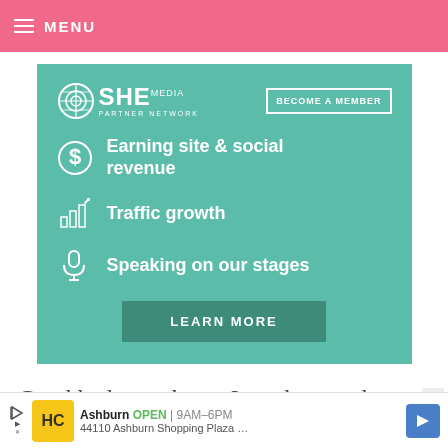MENU
[Figure (infographic): SHE Media Partner Network advertisement. Teal/green background. Top row: SHE Media logo (globe icon + SHE MEDIA text + PARTNER NETWORK) and a 'BECOME A MEMBER' button with white border. Three feature items with white icons: dollar sign - 'Earning site & social revenue'; bar chart with arrow - 'Traffic growth'; microphone - 'Speaking on our stages'. A dark teal 'LEARN MORE' button at bottom.]
Good luck – and now I need to go clear off my dining room table.
[Figure (infographic): Bottom advertisement bar: HC logo in yellow square, 'Ashburn OPEN 9AM–6PM' and '44110 Ashburn Shopping Plaza …' with blue navigation arrow icon. Play/skip icon on left. Close X button on right.]